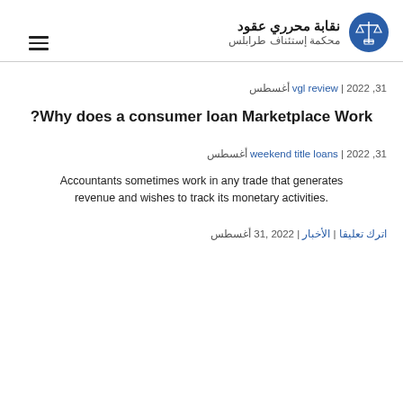نقابة محرري عقود / محكمة إستئناف طرابلس
31 أغسطس، 2022 | vgl review
?Why does a consumer loan Marketplace Work
31 أغسطس، 2022 | weekend title loans
Accountants sometimes work in any trade that generates revenue and wishes to track its monetary activities.
31 أغسطس، 2022 | الأخبار | اترك تعليقا